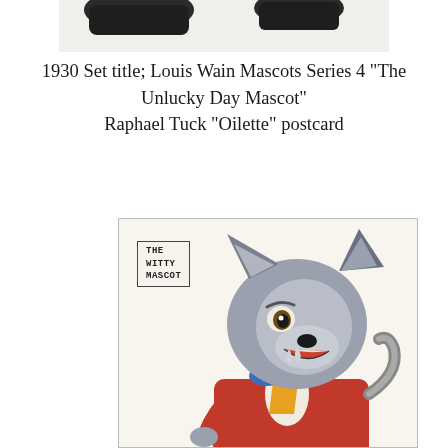[Figure (illustration): Partial top image showing a cropped illustration, likely another postcard from the Louis Wain series, partially visible at the top of the page.]
1930 Set title; Louis Wain Mascots Series 4 "The Unlucky Day Mascot"
Raphael Tuck "Oilette" postcard
[Figure (illustration): Raphael Tuck Oilette postcard illustration of a cartoon wolf or fox character dressed in a red jacket with a blue bow tie and yellow vest, labelled 'The Witty Mascot'. The anthropomorphic animal stands upright, mouth open, with a cheerful expression.]